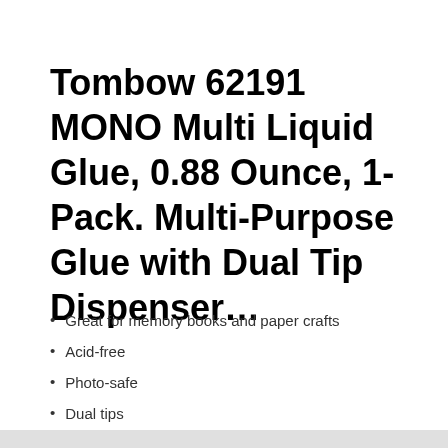Tombow 62191 MONO Multi Liquid Glue, 0.88 Ounce, 1-Pack. Multi-Purpose Glue with Dual Tip Dispenser…
Great for memory books and paper crafts
Acid-free
Photo-safe
Dual tips
Washable